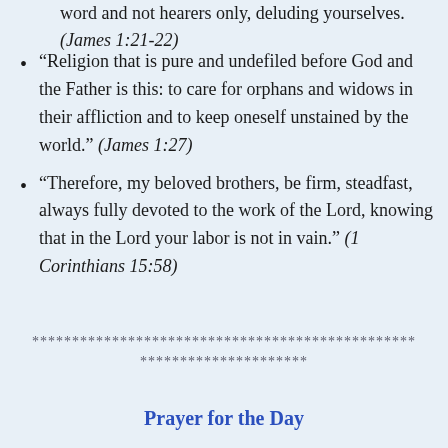word and not hearers only, deluding yourselves. (James 1:21-22)
“Religion that is pure and undefiled before God and the Father is this: to care for orphans and widows in their affliction and to keep oneself unstained by the world.” (James 1:27)
“Therefore, my beloved brothers, be firm, steadfast, always fully devoted to the work of the Lord, knowing that in the Lord your labor is not in vain.” (1 Corinthians 15:58)
************************************************
*********************
Prayer for the Day